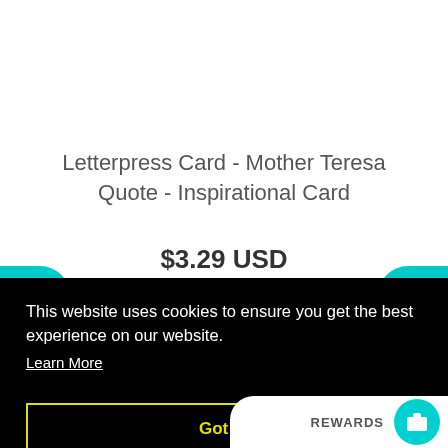Letterpress Card - Mother Teresa Quote - Inspirational Card
$3.29 USD
This website uses cookies to ensure you get the best experience on our website. Learn More
Got it!
REWARDS